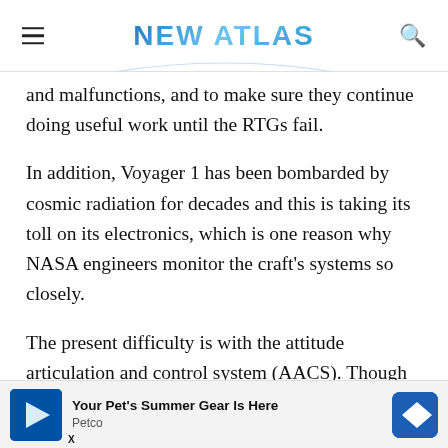NEW ATLAS
and malfunctions, and to make sure they continue doing useful work until the RTGs fail.
In addition, Voyager 1 has been bombarded by cosmic radiation for decades and this is taking its toll on its electronics, which is one reason why NASA engineers monitor the craft's systems so closely.
The present difficulty is with the attitude articulation and control system (AACS). Though Voyager 1 is receiving and executing commands from Earth, and is sending back data from its science instruments, the AA[CS is sending data back through the wrong main antenna, so the data appears to be] gain anten[na...]